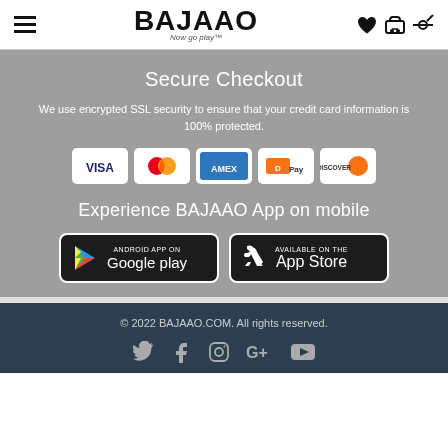BAJAAO — Now go play
Secure Checkout
We use encrypted SSL security to ensure that your credit card information is 100% protected.
[Figure (logo): Payment method logos: VISA, Mastercard, AMEX, DPay, DISCOVER]
Experience BAJAAO App on mobile
[Figure (infographic): Google Play and App Store download buttons]
© 2022 BAJAAO.COM. All rights reserved.
[Figure (infographic): Social media icons: Twitter, Facebook, Instagram, Google+, YouTube]